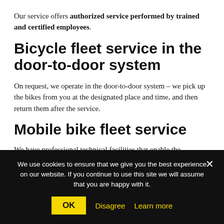Our service offers authorized service performed by trained and certified employees.
Bicycle fleet service in the door-to-door system
On request, we operate in the door-to-door system – we pick up the bikes from you at the designated place and time, and then return them after the service.
Mobile bike fleet service
We have professional technical facilities that enable the
We use cookies to ensure that we give you the best experience on our website. If you continue to use this site we will assume that you are happy with it.